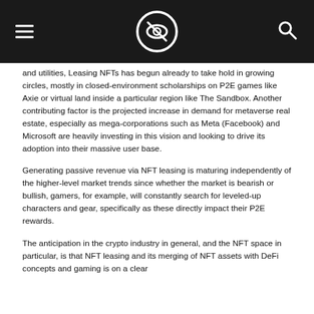[site logo and navigation]
and utilities, Leasing NFTs has begun already to take hold in growing circles, mostly in closed-environment scholarships on P2E games like Axie or virtual land inside a particular region like The Sandbox. Another contributing factor is the projected increase in demand for metaverse real estate, especially as mega-corporations such as Meta (Facebook) and Microsoft are heavily investing in this vision and looking to drive its adoption into their massive user base.
Generating passive revenue via NFT leasing is maturing independently of the higher-level market trends since whether the market is bearish or bullish, gamers, for example, will constantly search for leveled-up characters and gear, specifically as these directly impact their P2E rewards.
The anticipation in the crypto industry in general, and the NFT space in particular, is that NFT leasing and its merging of NFT assets with DeFi concepts and gaming is on a clear